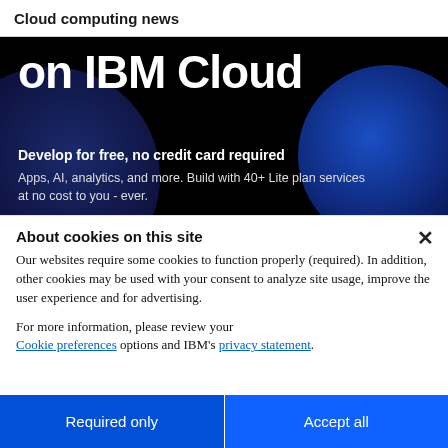Cloud computing news
[Figure (screenshot): IBM Cloud banner with dark background, showing 'on IBM Cloud' in large white text, a circular dark blue decorative shape, 'Develop for free, no credit card required' in bold white, and 'Apps, AI, analytics, and more. Build with 40+ Lite plan services at no cost to you - ever.' in white text.]
About cookies on this site
Our websites require some cookies to function properly (required). In addition, other cookies may be used with your consent to analyze site usage, improve the user experience and for advertising.
For more information, please review your Cookie preferences options and IBM's privacy statement.
Required only
Accept all